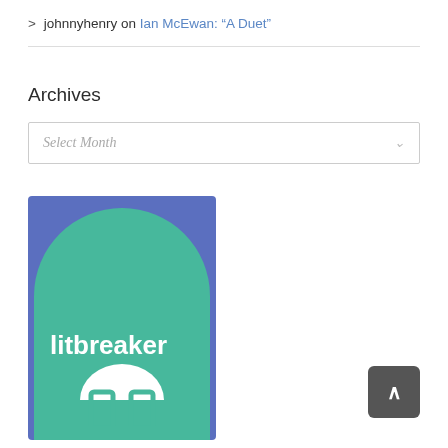> johnnyhenry on Ian McEwan: “A Duet”
Archives
Select Month
[Figure (logo): Litbreaker logo: green rounded rectangle with blue background, bold white text 'litbreaker' and white Mastodon-style icon at bottom]
^ Back to top button